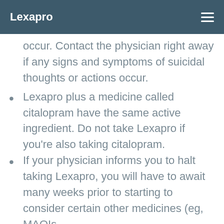Lexapro
occur. Contact the physician right away if any signs and symptoms of suicidal thoughts or actions occur.
Lexapro plus a medicine called citalopram have the same active ingredient. Do not take Lexapro if you're also taking citalopram.
If your physician informs you to halt taking Lexapro, you will have to await many weeks prior to starting to consider certain other medicines (eg, MAOIs,